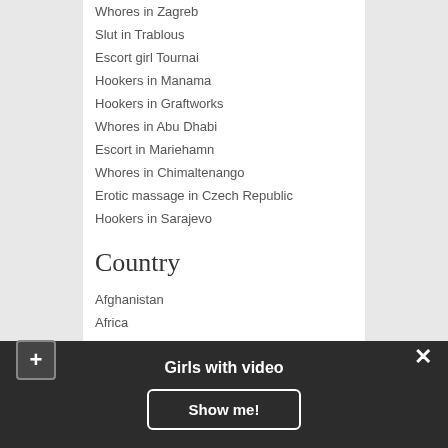Whores in Zagreb
Slut in Trablous
Escort girl Tournai
Hookers in Manama
Hookers in Graftworks
Whores in Abu Dhabi
Escort in Mariehamn
Whores in Chimaltenango
Erotic massage in Czech Republic
Hookers in Sarajevo
Country
Afghanistan
Africa
Aland
Albania
Algeria
Girls with video
Show me!